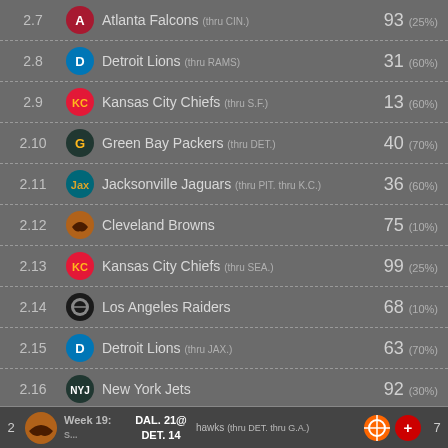2.7 Atlanta Falcons (thru CIN.) 93 (25%)
2.8 Detroit Lions (thru RAMS) 31 (60%)
2.9 Kansas City Chiefs (thru S.F.) 13 (60%)
2.10 Green Bay Packers (thru DET.) 40 (70%)
2.11 Jacksonville Jaguars (thru PIT. thru K.C.) 36 (60%)
2.12 Cleveland Browns 75 (10%)
2.13 Kansas City Chiefs (thru SEA.) 99 (25%)
2.14 Los Angeles Raiders 68 (10%)
2.15 Detroit Lions (thru JAX.) 63 (70%)
2.16 New York Jets 92 (30%)
2 vs Week 19: S... DAL. 21@ DET. 14 hawks (thru DET. thru G.A.) 7